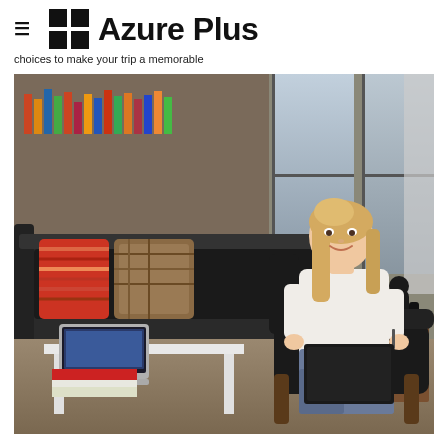≡  Azure Plus
choices to make your trip a memorable
[Figure (photo): A woman with blonde hair wearing a white blouse sitting in a black leather chair in a modern hotel lobby or lounge, working with a pen and notepad on her lap. A laptop and red books are on a white table nearby. A dark sofa with colorful pillows is in the background, along with large windows.]